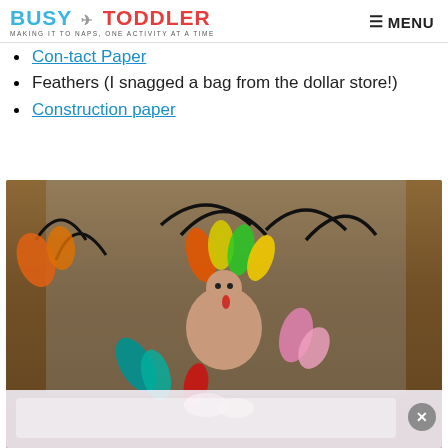BUSY TODDLER | MAKING IT TO NAPS, ONE ACTIVITY AT A TIME | MENU
Con-tact Paper
Feathers (I snagged a bag from the dollar store!)
Construction paper
[Figure (photo): A toddler turkey craft made with colorful feathers (orange, yellow, green, teal, pink, red) on contact paper against a wooden background. Several turkey shapes made from construction paper with curled black pipe cleaner feathers and craft feathers stuck to contact paper. A child's hands are visible at the bottom holding/arranging feathers.]